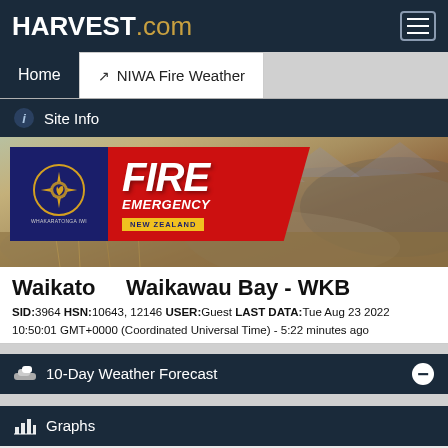HARVEST.com
Home
NIWA Fire Weather
i  Site Info
[Figure (photo): Fire Emergency New Zealand logo overlaid on a landscape photo of golden grass hills with mountains in the background]
Waikato    Waikawau Bay - WKB
SID:3964 HSN:10643, 12146 USER:Guest LAST DATA:Tue Aug 23 2022 10:50:01 GMT+0000 (Coordinated Universal Time) - 5:22 minutes ago
10-Day Weather Forecast
Graphs